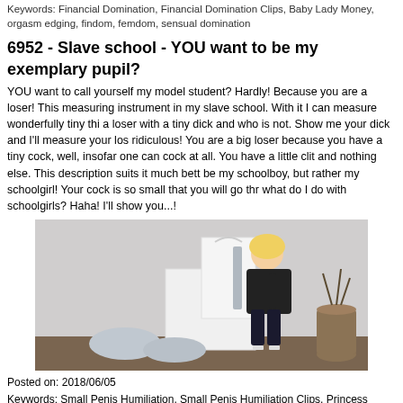Keywords: Financial Domination, Financial Domination Clips, Baby Lady Money, orgasm edging, findom, femdom, sensual domination
6952 - Slave school - YOU want to be my exemplary pupil?
YOU want to call yourself my model student? Hardly! Because you are a loser! This measuring instrument in my slave school. With it I can measure wonderfully tiny thi a loser with a tiny dick and who is not. Show me your dick and I'll measure your los ridiculous! You are a big loser because you have a tiny cock, well, insofar one can cock at all. You have a little clit and nothing else. This description suits it much bett be my schoolboy, but rather my schoolgirl! Your cock is so small that you will go thr what do I do with schoolgirls? Haha! I'll show you...!
[Figure (photo): Blonde woman in black outfit sitting on white chair holding a ruler/paddle, with decorative pillows and vases in background]
Posted on: 2018/06/05
Keywords: Small Penis Humiliation, Small Penis Humiliation Clips, Princess Serena
6953 - Licking boots and high heels